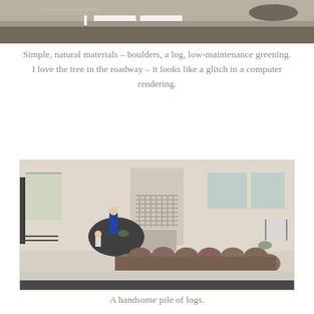[Figure (photo): Top portion of a photo showing what appears to be a street or pavement surface with natural materials]
Simple, natural materials – boulders, a log, low-maintenance greening. I love the tree in the roadway – it looks like a glitch in a computer rendering.
[Figure (photo): Photo of a pile of large logs stacked in front of a building, with two children visible – one boy standing on a dark boulder and a girl sitting nearby. A bench is visible on the right.]
A handsome pile of logs.
[Figure (photo): Bottom partial photo showing trees and a green structure]